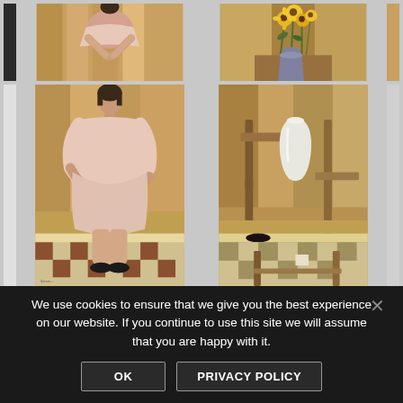[Figure (illustration): Gallery website screenshot showing a 2x2 grid of paintings. Top-left painting shows a woman in a pink dress seated. Top-right shows yellow flowers/sunflowers in a vase. Bottom-left (larger) shows a woman in a pink dress seated holding a book, with a checkered floor. Bottom-right shows a white vase on a wooden table with a checkered floor.]
We use cookies to ensure that we give you the best experience on our website. If you continue to use this site we will assume that you are happy with it.
OK
PRIVACY POLICY